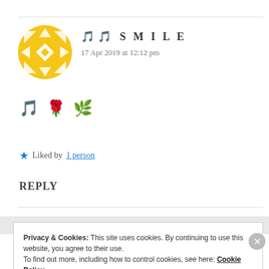[Figure (illustration): Circular avatar with yellow/gold geometric snowflake pattern design on white background]
🎵 🎵 S M I L E
17 Apr 2019 at 12:12 pm
🎵 🌹 🌿
★ Liked by 1 person
REPLY
Privacy & Cookies: This site uses cookies. By continuing to use this website, you agree to their use.
To find out more, including how to control cookies, see here: Cookie Policy
Close and accept